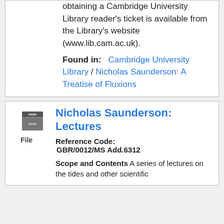obtaining a Cambridge University Library reader's ticket is available from the Library's website (www.lib.cam.ac.uk).
Found in: Cambridge University Library / Nicholas Saunderson: A Treatise of Fluxions
[Figure (illustration): File cabinet icon with label 'File']
Nicholas Saunderson: Lectures
Reference Code: GBR/0012/MS Add.6312
Scope and Contents A series of lectures on the tides and other scientific